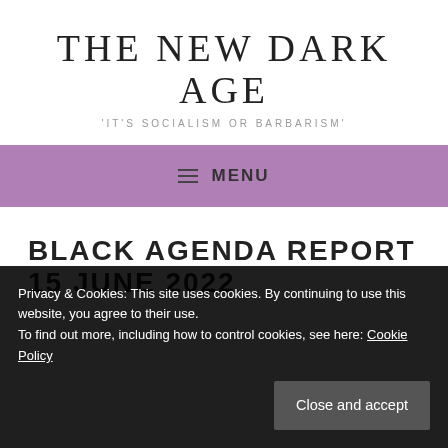THE NEW DARK AGE
'IT'S SOCIALISM OR BARBARISM'
≡ MENU
BLACK AGENDA REPORT 15 JUNE 2022
Privacy & Cookies: This site uses cookies. By continuing to use this website, you agree to their use.
To find out more, including how to control cookies, see here: Cookie Policy
Close and accept